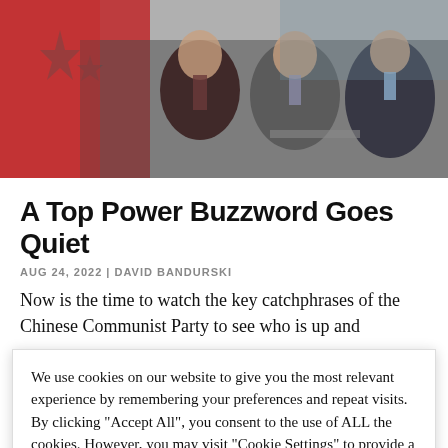[Figure (photo): Photo of men in suits seated at a formal event, with a red flag featuring stars visible on the left side]
A Top Power Buzzword Goes Quiet
AUG 24, 2022 | DAVID BANDURSKI
Now is the time to watch the key catchphrases of the Chinese Communist Party to see who is up and
We use cookies on our website to give you the most relevant experience by remembering your preferences and repeat visits. By clicking "Accept All", you consent to the use of ALL the cookies. However, you may visit "Cookie Settings" to provide a controlled consent.